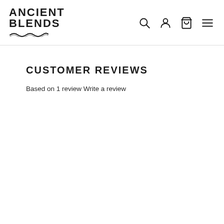Ancient Blends
CUSTOMER REVIEWS
Based on 1 review Write a review